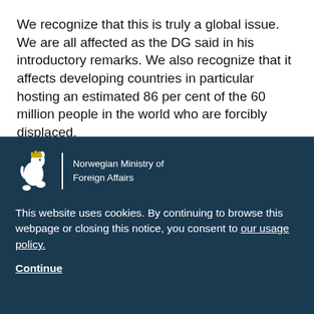We recognize that this is truly a global issue. We are all affected as the DG said in his introductory remarks. We also recognize that it affects developing countries in particular hosting an estimated 86 per cent of the 60 million people in the world who are forcibly displaced.
We hope that this discussion in the GB will highlight,
[Figure (logo): Norwegian Ministry of Foreign Affairs coat of arms / lion logo with vertical white divider and text]
This website uses cookies. By continuing to browse this webpage or closing this notice, you consent to our usage policy.
Continue